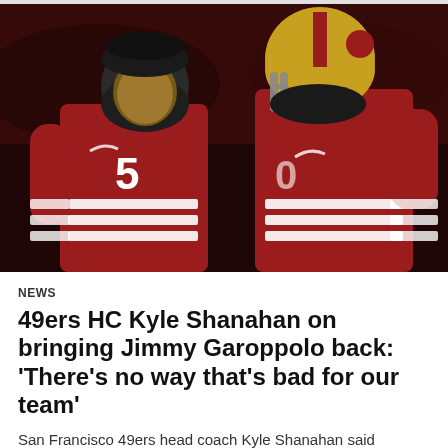[Figure (photo): Two San Francisco 49ers quarterbacks in red uniforms standing on the field. The player on the left wears a black beanie and jersey number 5, and the player on the right wears a gold helmet with the 49ers logo.]
NEWS
49ers HC Kyle Shanahan on bringing Jimmy Garoppolo back: 'There's no way that's bad for our team'
San Francisco 49ers head coach Kyle Shanahan said Tuesday that bringing back veteran QB Jimmy Garoppolo as a backup to